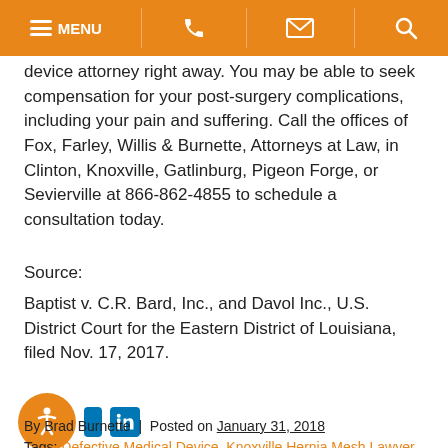MENU (navigation bar with phone, email, search icons)
device attorney right away. You may be able to seek compensation for your post-surgery complications, including your pain and suffering. Call the offices of Fox, Farley, Willis & Burnette, Attorneys at Law, in Clinton, Knoxville, Gatlinburg, Pigeon Forge, or Sevierville at 866-862-4855 to schedule a consultation today.
Source:
Baptist v. C.R. Bard, Inc., and Davol Inc., U.S. District Court for the Eastern District of Louisiana, filed Nov. 17, 2017.
By Brad Burnette | Posted on January 31, 2018
Tags: Defective Medical Device, Knoxville Hernia Mesh Lawyer, Knoxville Hernia Mesh Lawyers, Polypropylene-based